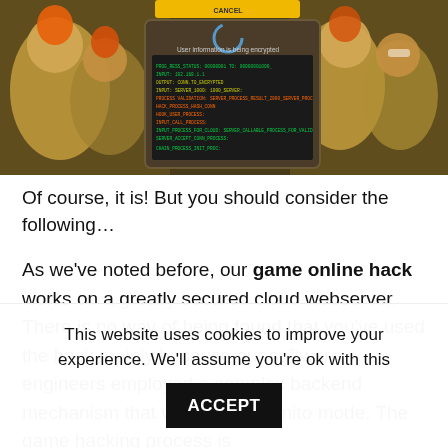[Figure (screenshot): A game screenshot showing cartoon-style soldier characters on the sides with a dark popup dialog box in the center reading 'User information is being encrypted' with green and orange text lines of code/data below it on a dark background. A yellow button is visible at the top.]
Of course, it is! But you should consider the following…
As we've noted before, our game online hack works on a greatly secured cloud webserver. There is no way of being found that you've used the hack mainly because our software engineers employed a complex backend mechanism that works in incognito mode. The game hacking process is
This website uses cookies to improve your experience. We'll assume you're ok with this  ACCEPT